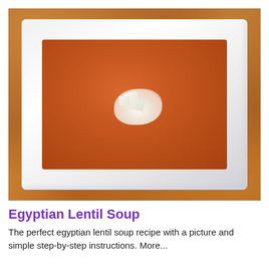[Figure (photo): A white square bowl filled with orange-red Egyptian lentil soup, garnished with white cheese cubes and cream in the center, placed on a wooden table.]
Egyptian Lentil Soup
The perfect egyptian lentil soup recipe with a picture and simple step-by-step instructions. More...